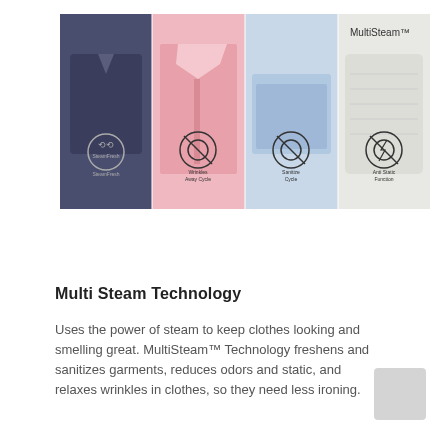[Figure (photo): Product lifestyle image labeled 'MultiSteam™' showing four sections of clothing (dark folded shirt, pink dress shirt, light blue folded clothes, white knitwear) with four feature icons and labels: SteamFresh, Wrinkles Away Cycle, Sanitize Cycle, Anti Static Function. Background shows a dryer drum.]
Multi Steam Technology
Uses the power of steam to keep clothes looking and smelling great. MultiSteam™ Technology freshens and sanitizes garments, reduces odors and static, and relaxes wrinkles in clothes, so they need less ironing.